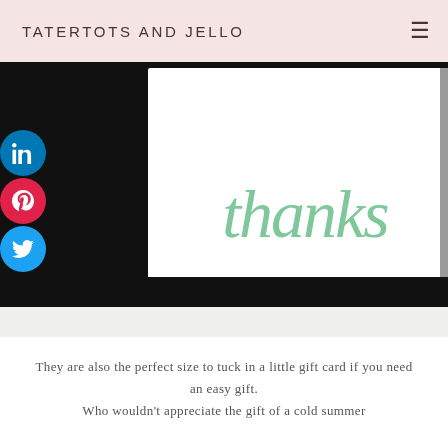TATERTOTS AND JELLO
[Figure (photo): Close-up photo of a white thank you card with green cursive 'thanks' text, placed in a black envelope or holder on a white surface. Social media share buttons (LinkedIn, Pinterest, Twitter) visible on the left side.]
They are also the perfect size to tuck in a little gift card if you need an easy gift.
Who wouldn't appreciate the gift of a cold summer